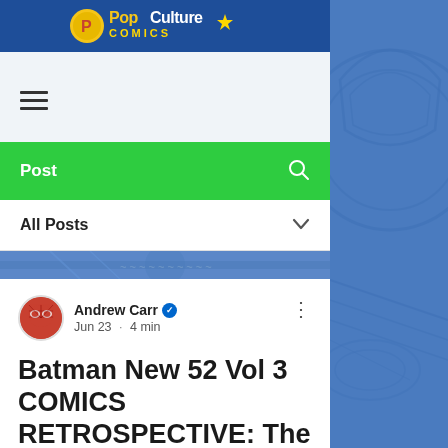Pop Culture Comics
[Figure (logo): Pop Culture Comics logo with yellow badge on blue background banner]
[Figure (illustration): Hamburger/menu icon with three horizontal lines]
Post
All Posts
[Figure (illustration): Blue comic book artwork banner strip showing partial superhero illustration]
Andrew Carr · Jun 23 · 4 min
Batman New 52 Vol 3 COMICS RETROSPECTIVE: The Joker finally shows his face